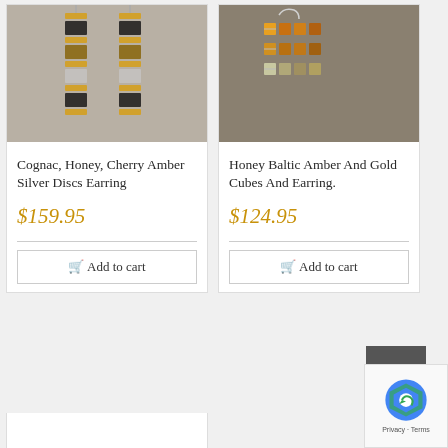[Figure (photo): Dangling earrings with cognac, honey and cherry amber beads alternating with silver disc spacers, shown as a pair against a light gray background.]
Cognac, Honey, Cherry Amber Silver Discs Earring
$159.95
Add to cart
[Figure (photo): Honey Baltic amber and gold cube bead earrings arranged in three rows, shown on silver ear wires against a muted background.]
Honey Baltic Amber And Gold Cubes And Earring.
$124.95
Add to cart